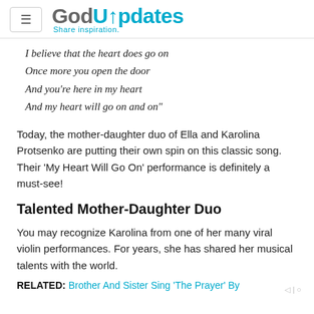GodUpdates — Share inspiration.
I believe that the heart does go on
Once more you open the door
And you're here in my heart
And my heart will go on and on"
Today, the mother-daughter duo of Ella and Karolina Protsenko are putting their own spin on this classic song. Their 'My Heart Will Go On' performance is definitely a must-see!
Talented Mother-Daughter Duo
You may recognize Karolina from one of her many viral violin performances. For years, she has shared her musical talents with the world.
RELATED: Brother And Sister Sing 'The Prayer' By...